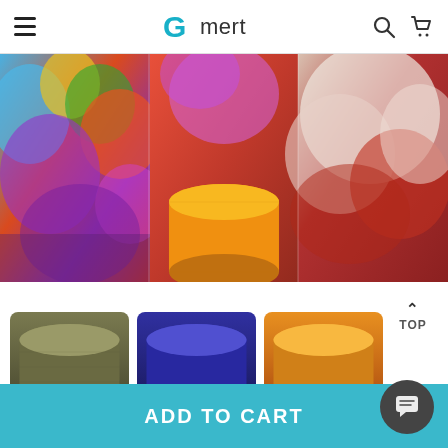Gmert
[Figure (photo): Triptych product image showing colorful smoke bombs: left panel shows crowd with multicolored smoke (red, orange, yellow, green, blue, purple), center panel shows an orange cylindrical smoke bomb with red smoke background, right panel shows red and white smoke cloud.]
[Figure (photo): Three thumbnail images of smoke bomb cylinders: left is olive/dark gray colored, center is blue/navy colored, right is orange colored.]
ADD TO CART